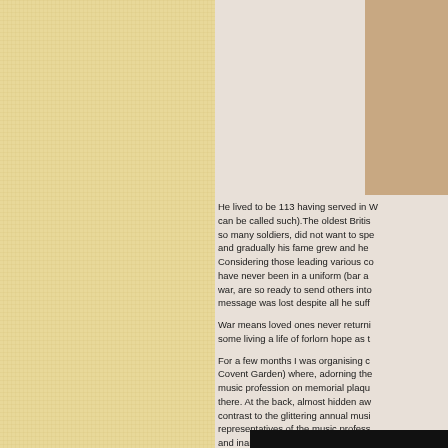[Figure (photo): Left panel with linen/canvas textured yellow-beige background]
[Figure (photo): Top right: photo of a person in beige/tan clothing against light background, partially cut off]
He lived to be 113 having served in W... can be called such).The oldest Britis... so many soldiers, did not want to spe... and gradually his fame grew and he ... Considering those leading various co... have never been in a uniform (bar a ... war, are so ready to send others into... message was lost despite all he suff...

War means loved ones never returni... some living a life of forlorn hope as t...

For a few months I was organising c... Covent Garden) where, adorning the... music profession on memorial plaqu... there. At the back, almost hidden aw... contrast to the glittering annual musi... representatives of the music profess... and inane lyrics of the modern award... Winehouse's 'Rehab' song aint no cl... example of many.